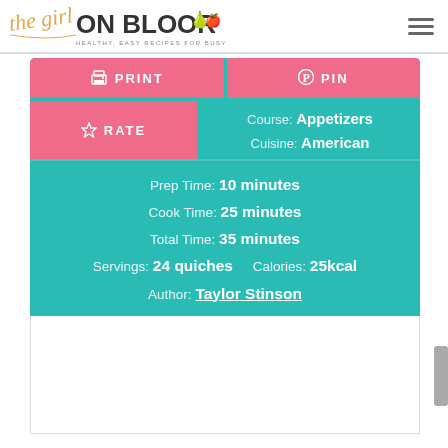the girl ON BLOOR - HEALTHY, EASY RECIPES FOR BUSY PEOPLE!
PRINT | PIN | RATE
Course: Appetizers
Cuisine: American
Prep Time: 10 minutes
Cook Time: 25 minutes
Total Time: 35 minutes
Servings: 24 quiches   Calories: 25kcal
Author: Taylor Stinson